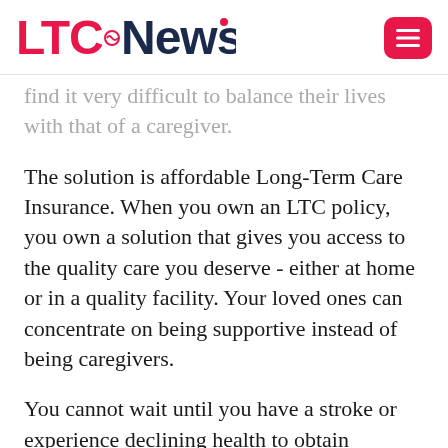LTC News
find it very difficult to balance their lives with that of a caregiver.
The solution is affordable Long-Term Care Insurance. When you own an LTC policy, you own a solution that gives you access to the quality care you deserve - either at home or in a quality facility. Your loved ones can concentrate on being supportive instead of being caregivers.
You cannot wait until you have a stroke or experience declining health to obtain coverage. Long-Term Care Insurance is medically underwritten, so it is easier and less expensive to address the problem when you are